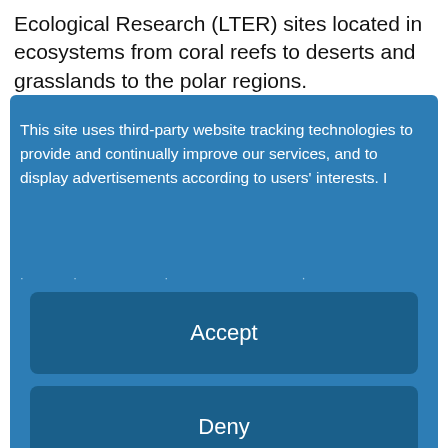Ecological Research (LTER) sites located in ecosystems from coral reefs to deserts and grasslands to the polar regions.
[Figure (screenshot): Cookie consent overlay dialog on a blue background with 'Accept' and 'Deny' buttons, 'more' link, and 'Powered by usercentrics & eRecht24' branding, overlaying a website about LTER ecological research sites with a world map strip at bottom showing MCM label.]